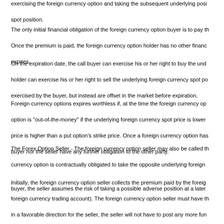exercising the foreign currency option and taking the subsequent underlying position via a spot position.
The only initial financial obligation of the foreign currency option buyer is to pay the premium. Once the premium is paid, the foreign currency option holder has no other financial obligation until the option expires.
On the expiration date, the call buyer can exercise his or her right to buy the underlying foreign currency spot position at the strike price, or the put holder can exercise his or her right to sell the underlying foreign currency spot position at the strike price. Most foreign currency options are not exercised by the buyer, but instead are offset in the market before expiration.
Foreign currency options expires worthless if, at the time the foreign currency option expires, the strike price is "out-of-the-money." An option is "out-of-the-money" if the underlying foreign currency spot price is lower than a call option's strike price, or if the underlying spot price is higher than a put option's strike price. Once a foreign currency option has expired worthless, neither the buyer nor the seller have any further obligation to the other party.
The Forex Option Seller - The foreign currency option seller may also be called the option writer or grantor. The seller of a foreign currency option is contractually obligated to take the opposite underlying foreign currency spot position if the option buyer exercises their right. In return for the premium received from the buyer, the seller assumes the risk of taking a possible adverse position at a later point in time in the foreign currency spot market.
Initially, the foreign currency option seller collects the premium paid by the foreign currency option buyer (credited to the seller's foreign currency trading account). The foreign currency option seller must have the required margin in their trading account. If the markets move in a favorable direction for the seller, the seller will not have to post any more funds other than the required margin. If the markets move in an unfavorable direction for the foreign currency options seller, however, the seller will have to post additional funds to their account to keep the balance in the foreign currency trading account above the minimum margin requirement.
Just like the buyer, the foreign currency option seller has the choice to either offset (buy back) the foreign currency option contract in the options market prior to expiration, or the seller can choose to hold the foreign currency option contract until expiration. If the foreign currency option seller holds the contract until expiration, one of two scenarios will occur: (1) the seller will take the opposite underlying foreign currency spot position if the buyer exercises the option or (2) the seller will let the option